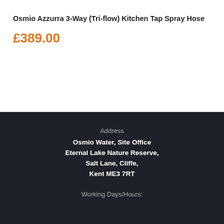Osmio Azzurra 3-Way (Tri-flow) Kitchen Tap Spray Hose
£389.00
Address
Osmio Water, Site Office
Eternal Lake Nature Reserve,
Salt Lane, Cliffe,
Kent ME3 7RT
Working Days/Hours: